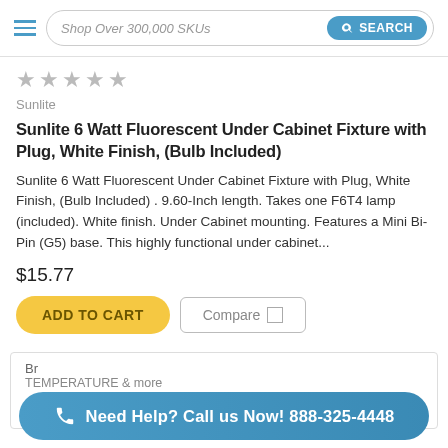Shop Over 300,000 SKUs  SEARCH
[Figure (other): 5 empty star rating icons in gray]
Sunlite
Sunlite 6 Watt Fluorescent Under Cabinet Fixture with Plug, White Finish, (Bulb Included)
Sunlite 6 Watt Fluorescent Under Cabinet Fixture with Plug, White Finish, (Bulb Included) . 9.60-Inch length. Takes one F6T4 lamp (included). White finish. Under Cabinet mounting. Features a Mini Bi-Pin (G5) base. This highly functional under cabinet...
$15.77
ADD TO CART
Compare
Br TEMPERATURE & more
Need Help? Call us Now! 888-325-4448